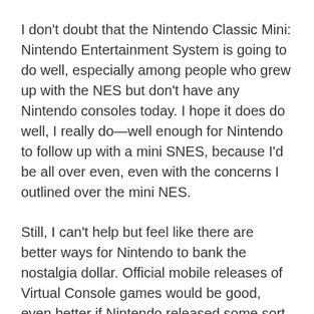I don't doubt that the Nintendo Classic Mini: Nintendo Entertainment System is going to do well, especially among people who grew up with the NES but don't have any Nintendo consoles today. I hope it does do well, I really do—well enough for Nintendo to follow up with a mini SNES, because I'd be all over even, even with the concerns I outlined over the mini NES.
Still, I can't help but feel like there are better ways for Nintendo to bank the nostalgia dollar. Official mobile releases of Virtual Console games would be good, even better if Nintendo released some sort of official mobile game pad. But for those of us who want a Nintendo sitting in our TV cabinet alongside our Wii U, PS4, and Xbox One? Let us buy the real thing.